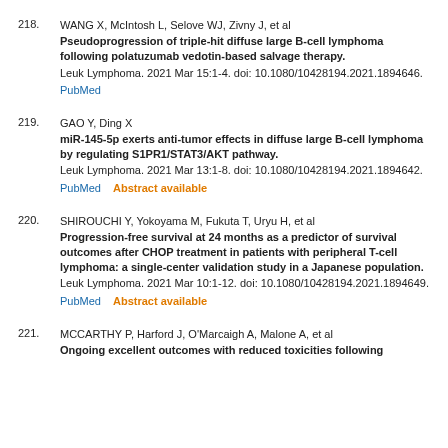218. WANG X, McIntosh L, Selove WJ, Zivny J, et al Pseudoprogression of triple-hit diffuse large B-cell lymphoma following polatuzumab vedotin-based salvage therapy. Leuk Lymphoma. 2021 Mar 15:1-4. doi: 10.1080/10428194.2021.1894646. PubMed
219. GAO Y, Ding X miR-145-5p exerts anti-tumor effects in diffuse large B-cell lymphoma by regulating S1PR1/STAT3/AKT pathway. Leuk Lymphoma. 2021 Mar 13:1-8. doi: 10.1080/10428194.2021.1894642. PubMed    Abstract available
220. SHIROUCHI Y, Yokoyama M, Fukuta T, Uryu H, et al Progression-free survival at 24 months as a predictor of survival outcomes after CHOP treatment in patients with peripheral T-cell lymphoma: a single-center validation study in a Japanese population. Leuk Lymphoma. 2021 Mar 10:1-12. doi: 10.1080/10428194.2021.1894649. PubMed    Abstract available
221. MCCARTHY P, Harford J, O'Marcaigh A, Malone A, et al Ongoing excellent outcomes with reduced toxicities following